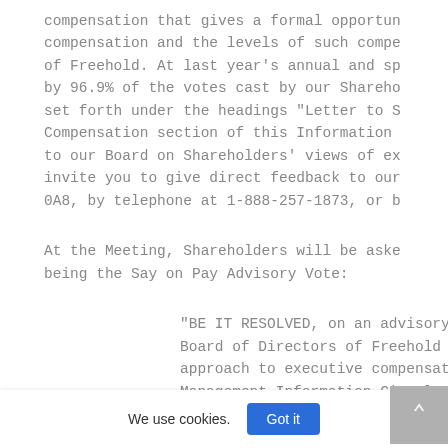compensation that gives a formal opportun compensation and the levels of such compe of Freehold. At last year's annual and sp by 96.9% of the votes cast by our Shareho set forth under the headings "Letter to S Compensation section of this Information to our Board on Shareholders' views of ex invite you to give direct feedback to our 0A8, by telephone at 1-888-257-1873, or b
At the Meeting, Shareholders will be aske being the Say on Pay Advisory Vote:
"BE IT RESOLVED, on an advisory b Board of Directors of Freehold Ro approach to executive compensatio Management Information Circular o
We use cookies.